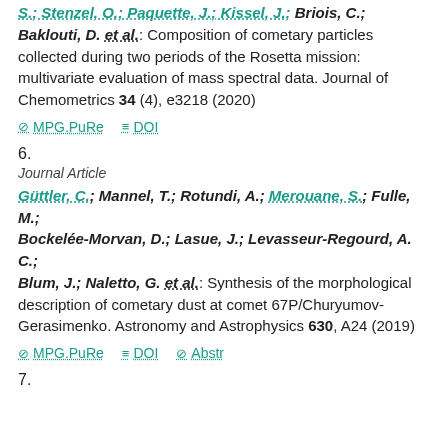S.; Stenzel, O.; Paquette, J.; Kissel, J.; Briois, C.; Baklouti, D. et al.: Composition of cometary particles collected during two periods of the Rosetta mission: multivariate evaluation of mass spectral data. Journal of Chemometrics 34 (4), e3218 (2020)
MPG.PuRe | DOI
6.
Journal Article
Güttler, C.; Mannel, T.; Rotundi, A.; Merouane, S.; Fulle, M.; Bockelée-Morvan, D.; Lasue, J.; Levasseur-Regourd, A. C.; Blum, J.; Naletto, G. et al.: Synthesis of the morphological description of cometary dust at comet 67P/Churyumov-Gerasimenko. Astronomy and Astrophysics 630, A24 (2019)
MPG.PuRe | DOI | Abstr
7.